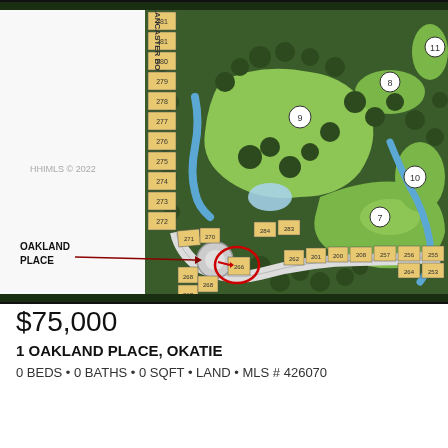[Figure (map): Aerial/illustrated golf community map showing lots numbered 267-284 and 200-279 along Lancaster Boulevard and Oakland Place cul-de-sac. Golf course fairways (holes 7, 8, 9, 10, 11) shown in green with water features in blue. A red circle highlights lot 266 at 1 Oakland Place. Label 'OAKLAND PLACE' with arrow points to the cul-de-sac. Watermark 'HHIMLS © 2022' visible on left side.]
$75,000
1 OAKLAND PLACE, OKATIE
0 BEDS • 0 BATHS • 0 SQFT • LAND • MLS # 426070